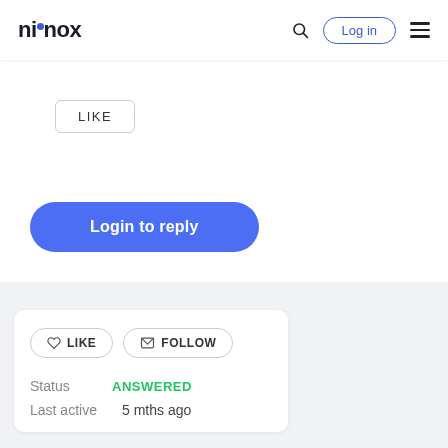ninox | Log in
LIKE
Login to reply
LIKE  FOLLOW
Status   ANSWERED
Last active   5 mths ago